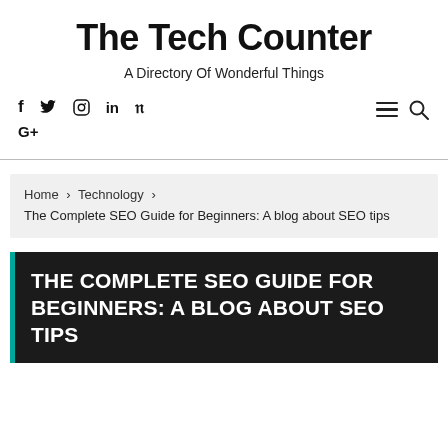The Tech Counter
A Directory Of Wonderful Things
[Figure (other): Social media icons: Facebook (f), Twitter (bird), Instagram (circle), LinkedIn (in), Pinterest (P), Google+ (G+), plus hamburger menu and search icon]
Home › Technology › The Complete SEO Guide for Beginners: A blog about SEO tips
THE COMPLETE SEO GUIDE FOR BEGINNERS: A BLOG ABOUT SEO TIPS